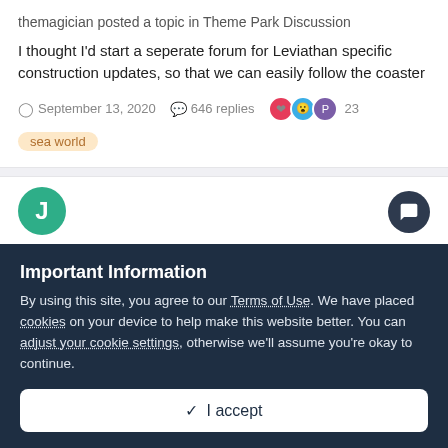themagician posted a topic in Theme Park Discussion
I thought I'd start a seperate forum for Leviathan specific construction updates, so that we can easily follow the coaster
September 13, 2020   646 replies   23
sea world
'Affinity' Animal Rights Protest
Important Information
By using this site, you agree to our Terms of Use. We have placed cookies on your device to help make this website better. You can adjust your cookie settings, otherwise we'll assume you're okay to continue.
I accept